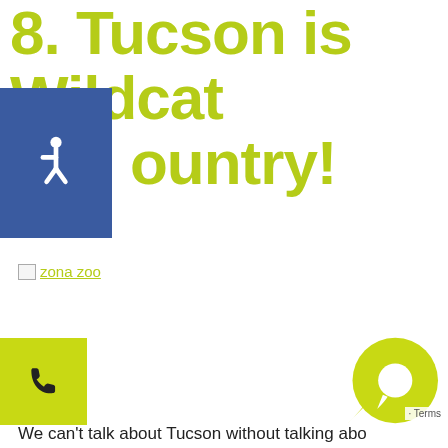8. Tucson is Wildcat Country!
[Figure (illustration): Blue square with white wheelchair accessibility icon]
[Figure (illustration): Broken image placeholder with alt text 'zona zoo' shown as a link]
[Figure (illustration): Yellow-green square button with phone handset icon]
[Figure (illustration): Yellow-green square button with tablet/mobile device icon]
[Figure (illustration): Yellow-green square button with clipboard icon]
[Figure (illustration): Yellow-green chat bubble icon in bottom right corner]
We can't talk about Tucson without talking abo...